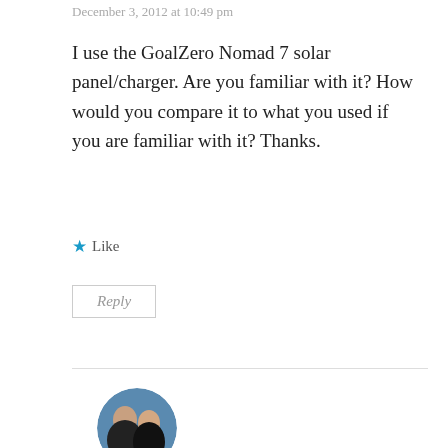December 3, 2012 at 10:49 pm
I use the GoalZero Nomad 7 solar panel/charger. Are you familiar with it? How would you compare it to what you used if you are familiar with it? Thanks.
★ Like
Reply
[Figure (photo): Circular avatar photo of two people, a man and a woman, smiling together outdoors]
Anna (North Star) and Chris (Shutterbug)
December 5, 2012 at 10:06 am
We saw a few people using the Goal Zero Nomad 7 on